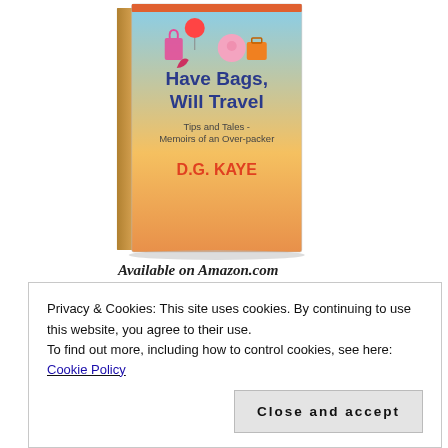[Figure (photo): Book cover of 'Have Bags, Will Travel - Tips and Tales - Memoirs of an Over-packer' by D.G. Kaye, shown as a 3D book with spine visible, colorful cover with illustrated characters]
Available on Amazon.com
[Figure (photo): Partial view of another book cover at the bottom of the page, partially obscured by cookie banner]
Privacy & Cookies: This site uses cookies. By continuing to use this website, you agree to their use.
To find out more, including how to control cookies, see here: Cookie Policy
Close and accept